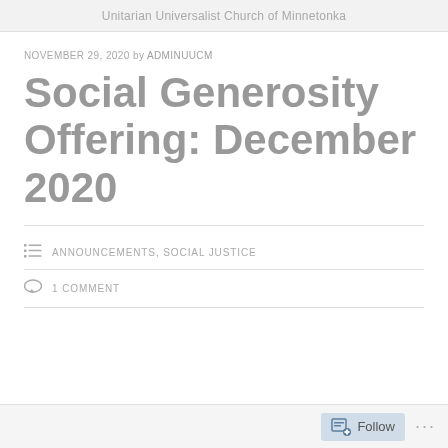Unitarian Universalist Church of Minnetonka
NOVEMBER 29, 2020 by ADMINUUCM
Social Generosity Offering: December 2020
ANNOUNCEMENTS, SOCIAL JUSTICE
1 COMMENT